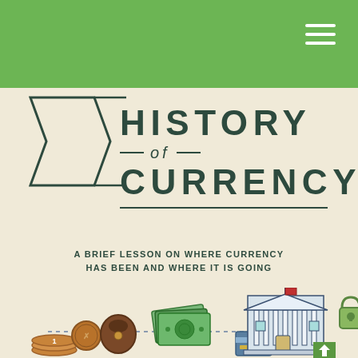HISTORY OF CURRENCY
A BRIEF LESSON ON WHERE CURRENCY HAS BEEN AND WHERE IT IS GOING
[Figure (infographic): Infographic illustration showing icons of coins, a wallet, paper money/bills, credit cards, a government bank building with flag, and a padlock representing digital currency. Dotted line path connects the elements suggesting a timeline of currency evolution.]